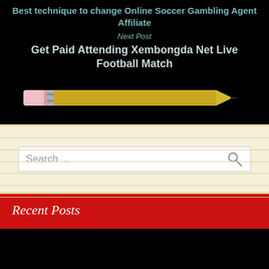Best technique to change Online Soccer Gambling Agent Affiliate
Next Post
Get Paid Attending Xembongda Net Live Football Match
[Figure (illustration): A yellow pencil with pink eraser on black background, pointing to the right]
Search ...
Recent Posts